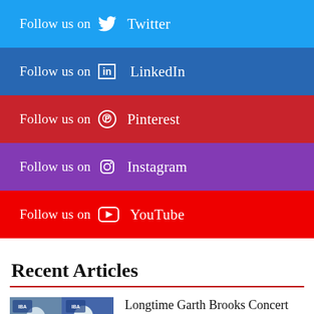Follow us on Twitter
Follow us on LinkedIn
Follow us on Pinterest
Follow us on Instagram
Follow us on YouTube
Recent Articles
Longtime Garth Brooks Concert Promoter Ben Farrell Dead at 76
Kane Brown Snags MTV Video Music Award, Nomination for 'Country'